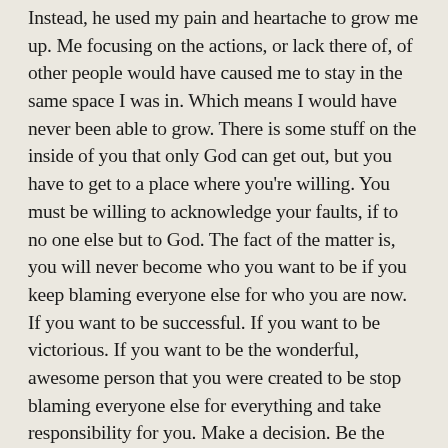Instead, he used my pain and heartache to grow me up. Me focusing on the actions, or lack there of, of other people would have caused me to stay in the same space I was in. Which means I would have never been able to grow. There is some stuff on the inside of you that only God can get out, but you have to get to a place where you're willing. You must be willing to acknowledge your faults, if to no one else but to God. The fact of the matter is, you will never become who you want to be if you keep blaming everyone else for who you are now. If you want to be successful. If you want to be victorious. If you want to be the wonderful, awesome person that you were created to be stop blaming everyone else for everything and take responsibility for you. Make a decision. Be the change you'd like to see in others.
~letstalkaboutlife365.com~
Thought Check: